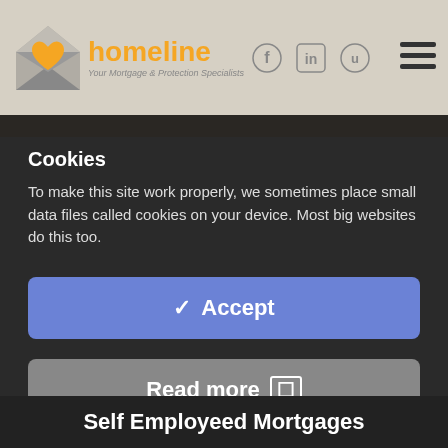[Figure (logo): Homeline logo with house/heart icon and tagline 'Your Mortgage & Protection Specialists']
Cookies
To make this site work properly, we sometimes place small data files called cookies on your device. Most big websites do this too.
Accept
Read more
Change Settings
Self Employeed Mortgages